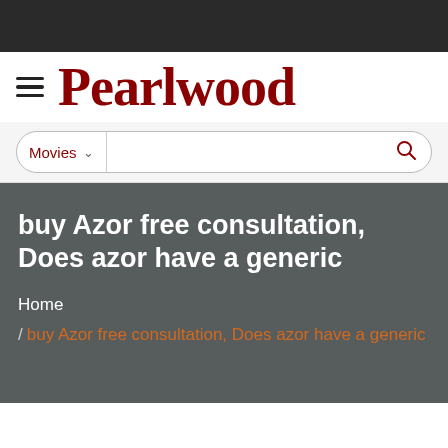Pearlwood
Movies
buy Azor free consultation, Does azor have a generic
Home
/ buy Azor free consultation, Does azor have a generic